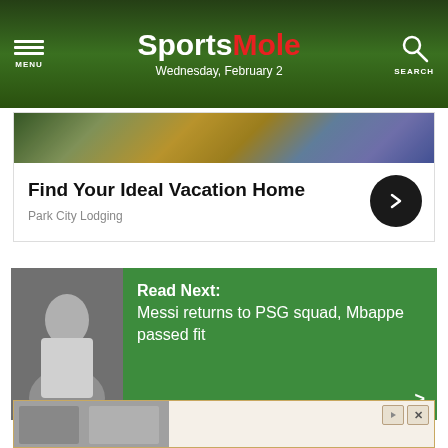Sports Mole — Wednesday, February 2
[Figure (screenshot): Advertisement card for Park City Lodging with aerial city photo, title 'Find Your Ideal Vacation Home', and a dark circular arrow button]
Find Your Ideal Vacation Home
Park City Lodging
[Figure (screenshot): Read Next card with green background, photo of a person, headline 'Read Next: Messi returns to PSG squad, Mbappe passed fit']
Read Next: Messi returns to PSG squad, Mbappe passed fit
[Figure (photo): Partial advertisement banner at bottom of page showing two people]